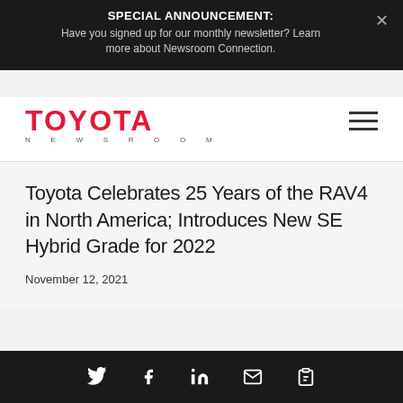SPECIAL ANNOUNCEMENT: Have you signed up for our monthly newsletter? Learn more about Newsroom Connection.
[Figure (logo): Toyota Newsroom logo — red bold TOYOTA text with NEWSROOM in spaced caps below]
Toyota Celebrates 25 Years of the RAV4 in North America; Introduces New SE Hybrid Grade for 2022
November 12, 2021
Social share icons: Twitter, Facebook, LinkedIn, Email, Clipboard/Link